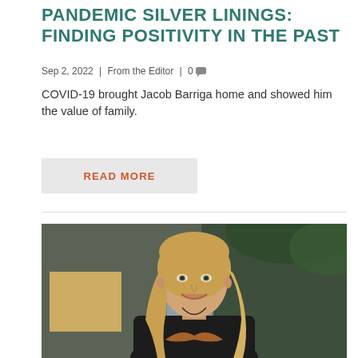PANDEMIC SILVER LININGS: FINDING POSITIVITY IN THE PAST
Sep 2, 2022 | From the Editor | 0
COVID-19 brought Jacob Barriga home and showed him the value of family.
READ MORE
[Figure (photo): A young woman with long blonde hair smiling, wearing a black graphic t-shirt with a wing design, standing outdoors near a building with glass doors and trees in the background.]